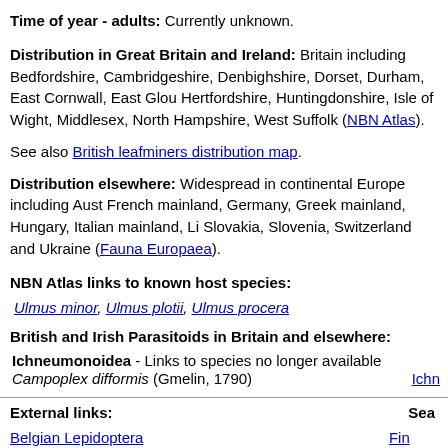Time of year - adults: Currently unknown.
Distribution in Great Britain and Ireland: Britain including Bedfordshire, Cambridgeshire, Denbighshire, Dorset, Durham, East Cornwall, East Gloucestershire, Hertfordshire, Huntingdonshire, Isle of Wight, Middlesex, North Hampshire, West Suffolk (NBN Atlas).
See also British leafminers distribution map.
Distribution elsewhere: Widespread in continental Europe including Austria, French mainland, Germany, Greek mainland, Hungary, Italian mainland, Lithuania, Slovakia, Slovenia, Switzerland and Ukraine (Fauna Europaea).
NBN Atlas links to known host species:
Ulmus minor, Ulmus plotii, Ulmus procera
British and Irish Parasitoids in Britain and elsewhere:
Ichneumonoidea - Links to species no longer available
Campoplex difformis (Gmelin, 1790)
External links:
Belgian Lepidoptera
Biodiversity Heritage Library
Bladmineerders van Europa
British leafminers